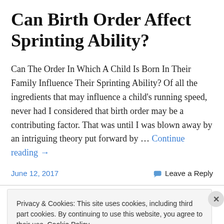Can Birth Order Affect Sprinting Ability?
Can The Order In Which A Child Is Born In Their Family Influence Their Sprinting Ability? Of all the ingredients that may influence a child's running speed, never had I considered that birth order may be a contributing factor. That was until I was blown away by an intriguing theory put forward by … Continue reading →
June 12, 2017    Leave a Reply
Privacy & Cookies: This site uses cookies, including third part cookies. By continuing to use this website, you agree to their use. Cookie Policy
Close and accept